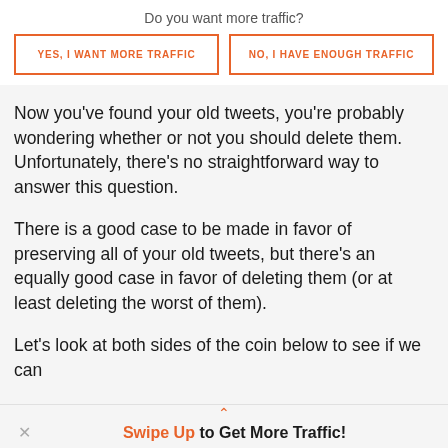Do you want more traffic?
[Figure (other): Two orange-bordered buttons side by side: 'YES, I WANT MORE TRAFFIC' and 'NO, I HAVE ENOUGH TRAFFIC']
Now you've found your old tweets, you're probably wondering whether or not you should delete them. Unfortunately, there's no straightforward way to answer this question.
There is a good case to be made in favor of preserving all of your old tweets, but there's an equally good case in favor of deleting them (or at least deleting the worst of them).
Let's look at both sides of the coin below to see if we can
Swipe Up to Get More Traffic!